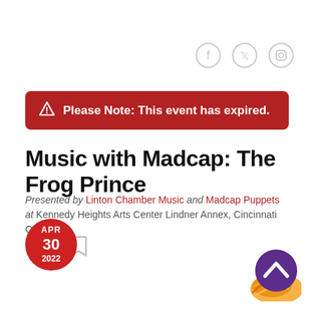[Figure (infographic): Social media icons: Facebook, Twitter, Instagram - circular outlines with icons, gray color]
Please Note: This event has expired.
Music with Madcap: The Frog Prince
Presented by Linton Chamber Music and Madcap Puppets at Kennedy Heights Arts Center Lindner Annex, Cincinnati OH
[Figure (infographic): Thumbs up like icon and bookmark icon, gray colored]
APR 30 2022
[Figure (logo): Decorative logo with orange/yellow swirl at bottom right, purple circle with white up-arrow chevron on top]